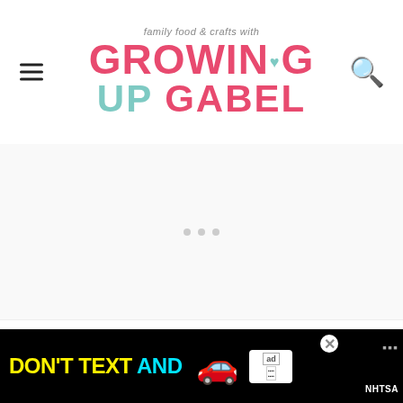family food & crafts with GROWING UP GABEL
[Figure (other): Advertisement placeholder area with three grey dots]
The basic recipe for a slow cooker fruit cobbler is canned fruit or pie filling, a cake or other baked good topping and butter. For the apple cobbler we used a box... the
[Figure (other): DON'T TEXT AND advertisement banner with car emoji and NHTSA ad badge]